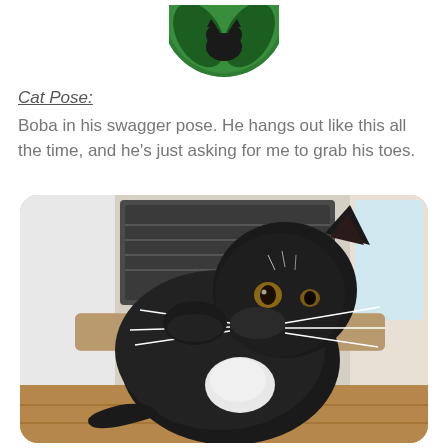[Figure (illustration): Partial green circular logo/icon visible at top center of page, appears to be a pet food or pet-related brand logo with a cat silhouette on a green background]
Cat Pose:
Boba in his swagger pose. He hangs out like this all the time, and he's just asking for me to grab his toes.
[Figure (photo): Photo of a fluffy black and white cat (tuxedo cat) sitting on a carpeted cat tree/scratching post, with long white whiskers, looking to the side. Background shows a window with white curtains and a wall vent.]